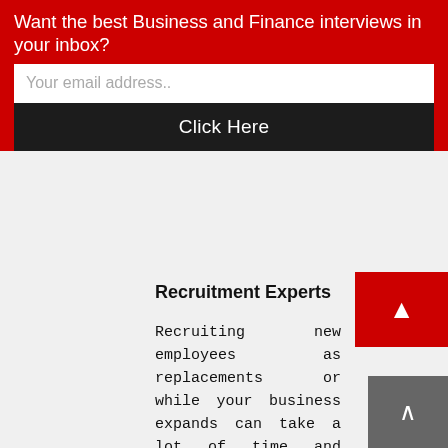Want the best Business and Finance interviews in your inbox?
Your email address..
Click Here
Recruitment Experts
Recruiting new employees as replacements or while your business expands can take a lot of time and resources away from focusing on work that is helping the company grow. As experts in recruiting within your sector they will be better placed at selecting the best candidates for your company too. They have more time to seek out the best quality employees and will already have contacts to fill such positions quickly.